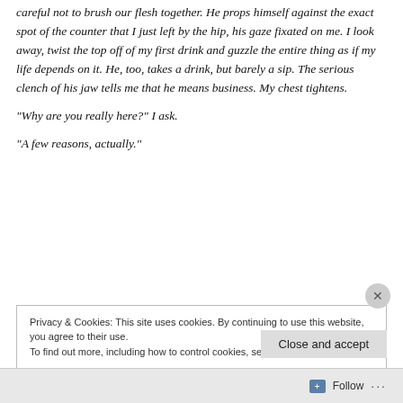careful not to brush our flesh together. He props himself against the exact spot of the counter that I just left by the hip, his gaze fixated on me. I look away, twist the top off of my first drink and guzzle the entire thing as if my life depends on it. He, too, takes a drink, but barely a sip. The serious clench of his jaw tells me that he means business. My chest tightens.
“Why are you really here?” I ask.
“A few reasons, actually.”
Privacy & Cookies: This site uses cookies. By continuing to use this website, you agree to their use.
To find out more, including how to control cookies, see here: Cookie Policy